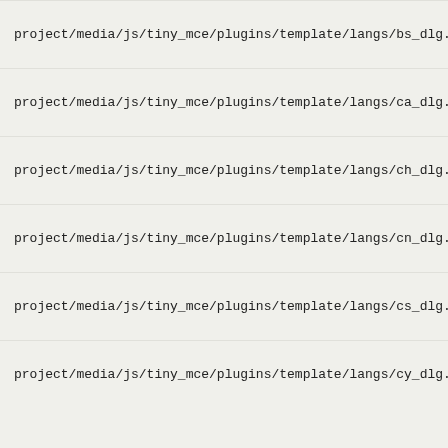project/media/js/tiny_mce/plugins/template/langs/bs_dlg.js
project/media/js/tiny_mce/plugins/template/langs/ca_dlg.js
project/media/js/tiny_mce/plugins/template/langs/ch_dlg.js
project/media/js/tiny_mce/plugins/template/langs/cn_dlg.js
project/media/js/tiny_mce/plugins/template/langs/cs_dlg.js
project/media/js/tiny_mce/plugins/template/langs/cy_dlg.js